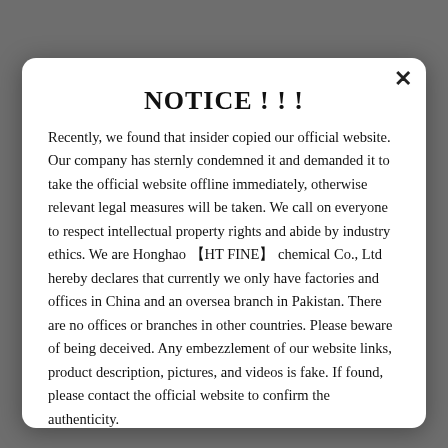NOTICE ! ! !
Recently, we found that insider copied our official website. Our company has sternly condemned it and demanded it to take the official website offline immediately, otherwise relevant legal measures will be taken. We call on everyone to respect intellectual property rights and abide by industry ethics. We are Honghao 【HT FINE】 chemical Co., Ltd hereby declares that currently we only have factories and offices in China and an oversea branch in Pakistan. There are no offices or branches in other countries. Please beware of being deceived. Any embezzlement of our website links, product description, pictures, and videos is fake. If found, please contact the official website to confirm the authenticity.